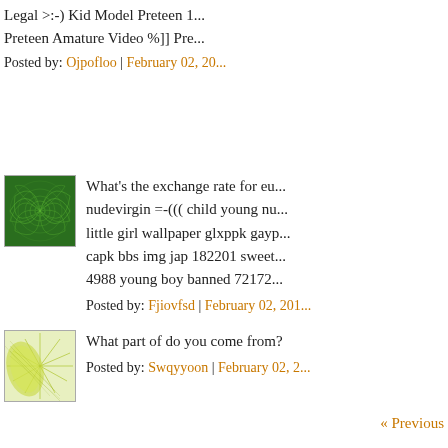Legal >:-) Kid Model Preteen 1...
Preteen Amature Video %]] Pre...
Posted by: Ojpofloo | February 02, 201...
[Figure (illustration): Green spiral pattern avatar image]
What's the exchange rate for eu...
nudevirgin =-(((  child young nu...
little girl wallpaper glxppk gayp...
capk bbs img jap 182201 sweet...
4988 young boy banned 72172...
Posted by: Fjiovfsd | February 02, 201...
[Figure (illustration): Yellow-green sunburst/fan pattern avatar image]
What part of do you come from?
Posted by: Swqyyoon | February 02, 2...
« Previous
The comments to this entry are closed.